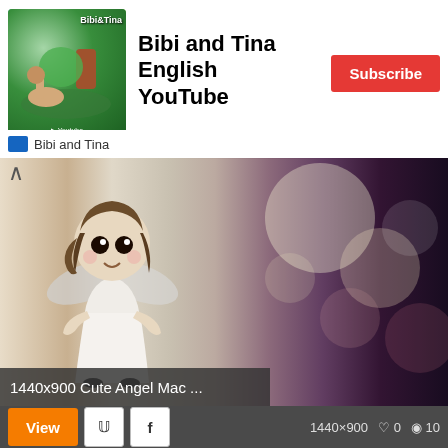[Figure (screenshot): YouTube advertisement banner for 'Bibi and Tina English YouTube' channel with Subscribe button, thumbnail image on left showing animated characters, and channel name below]
[Figure (photo): Wallpaper image titled '1440x900 Cute Angel Mac ...' showing a cute cartoon angel figurine on a blurred bokeh background with warm tones]
1440x900 Cute Angel Mac ...
View
1440×900   ♡ 0   👁 10
[Figure (photo): Dark grey fabric or wallpaper covered in a repeating pattern of white skull icons]